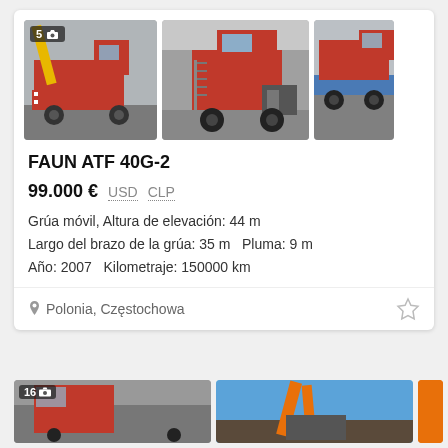[Figure (photo): Three photos of a red FAUN ATF 40G-2 mobile crane from different angles. First photo shows side/front view with badge showing 5 photos. Second shows rear-quarter view. Third shows crane on transport trailer.]
FAUN ATF 40G-2
99.000 € USD CLP
Grúa móvil, Altura de elevación: 44 m
Largo del brazo de la grúa: 35 m  Pluma: 9 m
Año: 2007  Kilometraje: 150000 km
Polonia, Częstochowa
[Figure (photo): Partial view of two more crane/equipment listings at the bottom of the page. Left shows equipment with badge '16'. Right shows orange crane against blue sky.]